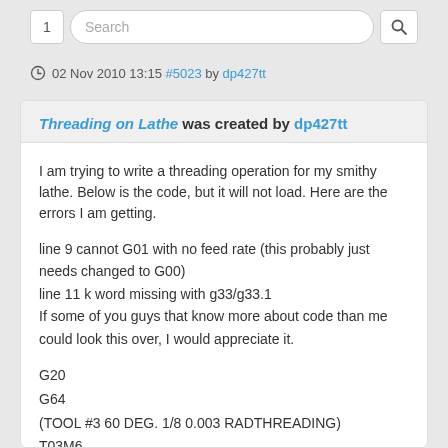1  Search
02 Nov 2010 13:15 #5023 by dp427tt
Threading on Lathe was created by dp427tt
I am trying to write a threading operation for my smithy lathe. Below is the code, but it will not load. Here are the errors I am getting.
line 9 cannot G01 with no feed rate (this probably just needs changed to G00)
line 11 k word missing with g33/g33.1
If some of you guys that know more about code than me could look this over, I would appreciate it.
G20
G64
(TOOL #3 60 DEG. 1/8 0.003 RADTHREADING)
T03M6
G18 G7
G00 X1.1 Z.0461 S200 M3
G94